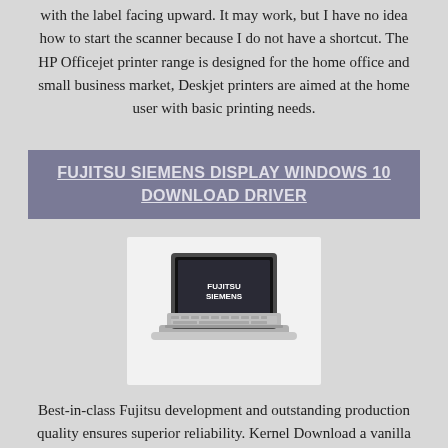with the label facing upward. It may work, but I have no idea how to start the scanner because I do not have a shortcut. The HP Officejet printer range is designed for the home office and small business market, Deskjet printers are aimed at the home user with basic printing needs.
FUJITSU SIEMENS DISPLAY WINDOWS 10 DOWNLOAD DRIVER
[Figure (photo): Photo of a Fujitsu Siemens small laptop/netbook with the Fujitsu Siemens logo visible on the screen, shown against a white background.]
Best-in-class Fujitsu development and outstanding production quality ensures superior reliability. Kernel Download a vanilla kernel from org, do not use the Redhat shipped source. For this model of laptop we've